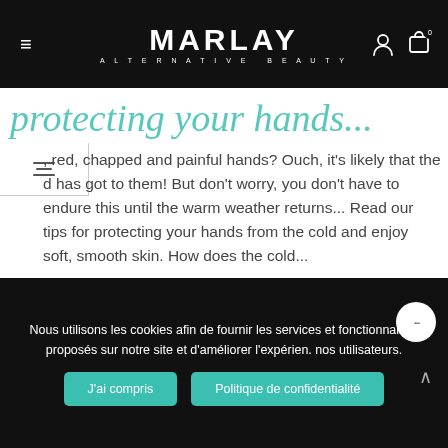MARLAY ALTERNATIVE BEAUTY
[Figure (illustration): Teal cursive/script decorative heading text partially visible]
, red, chapped and painful hands? Ouch, it's likely that the d has got to them! But don't worry, you don't have to endure this until the warm weather returns... Read our tips for protecting your hands from the cold and enjoy soft, smooth skin. How does the cold...
READ MORE
Nous utilisons les cookies afin de fournir les services et fonctionnalités proposés sur notre site et d'améliorer l'expérien. nos utilisateurs.
J'ai compris
Politique de confidentialité